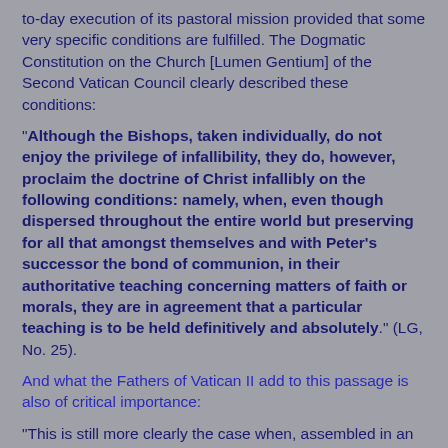to-day execution of its pastoral mission provided that some very specific conditions are fulfilled. The Dogmatic Constitution on the Church [Lumen Gentium] of the Second Vatican Council clearly described these conditions:
"Although the Bishops, taken individually, do not enjoy the privilege of infallibility, they do, however, proclaim the doctrine of Christ infallibly on the following conditions: namely, when, even though dispersed throughout the entire world but preserving for all that amongst themselves and with Peter's successor the bond of communion, in their authoritative teaching concerning matters of faith or morals, they are in agreement that a particular teaching is to be held definitively and absolutely." (LG, No. 25).
And what the Fathers of Vatican II add to this passage is also of critical importance:
"This is still more clearly the case when, assembled in an ecumenical council, they are, for the universal Church, teachers of and judges in matters of faith and morals, whose judgements must be adhered to with the loyal and obedient...